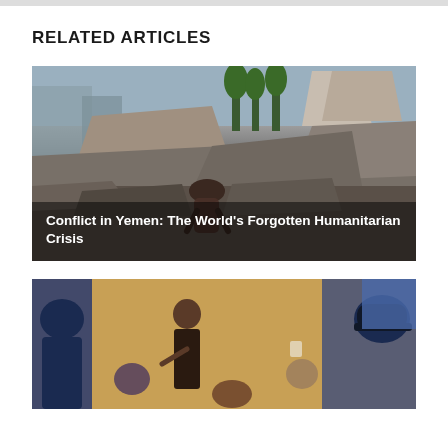RELATED ARTICLES
[Figure (photo): A man crouching amidst rubble and destroyed buildings, representing conflict and destruction in Yemen. The image shows collapsed concrete structures, debris, and grey dust.]
Conflict in Yemen: The World’s Forgotten Humanitarian Crisis
[Figure (photo): Indoor meeting or seminar scene with people gathered in a room with yellow/golden walls. A woman is standing and presenting while others are seated or standing around her. A screen is partially visible in the background.]